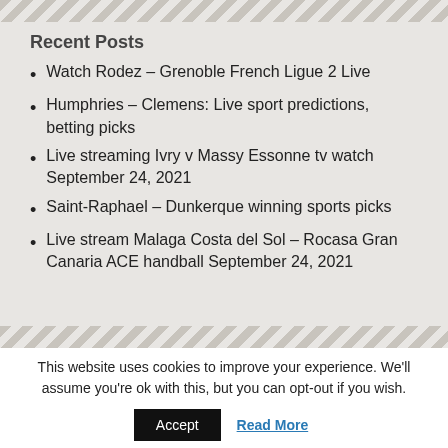Recent Posts
Watch Rodez – Grenoble French Ligue 2 Live
Humphries – Clemens: Live sport predictions, betting picks
Live streaming Ivry v Massy Essonne tv watch September 24, 2021
Saint-Raphael – Dunkerque winning sports picks
Live stream Malaga Costa del Sol – Rocasa Gran Canaria ACE handball September 24, 2021
This website uses cookies to improve your experience. We'll assume you're ok with this, but you can opt-out if you wish.
Accept  Read More